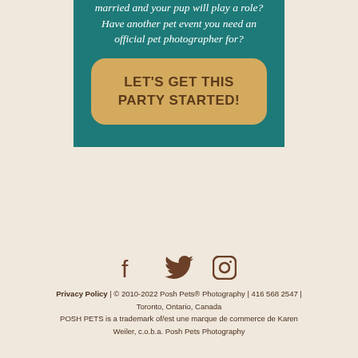married and your pup will play a role? Have another pet event you need an official pet photographer for?
LET'S GET THIS PARTY STARTED!
[Figure (illustration): Social media icons: Facebook, Twitter, Instagram]
Privacy Policy | © 2010-2022 Posh Pets® Photography | 416 568 2547 | Toronto, Ontario, Canada POSH PETS is a trademark of/est une marque de commerce de Karen Weiler, c.o.b.a. Posh Pets Photography